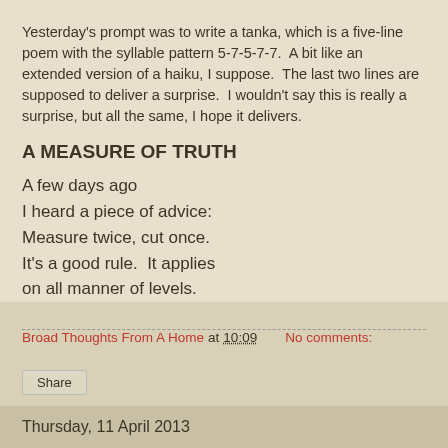Yesterday's prompt was to write a tanka, which is a five-line poem with the syllable pattern 5-7-5-7-7.  A bit like an extended version of a haiku, I suppose.  The last two lines are supposed to deliver a surprise.  I wouldn't say this is really a surprise, but all the same, I hope it delivers.
A MEASURE OF TRUTH
A few days ago
I heard a piece of advice:
Measure twice, cut once.
It's a good rule.  It applies
on all manner of levels.
Broad Thoughts From A Home at 10:09    No comments:
Share
Thursday, 11 April 2013